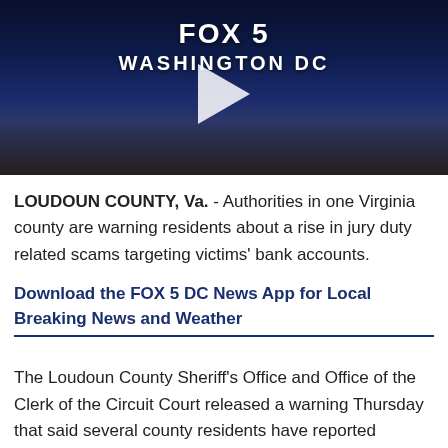[Figure (screenshot): FOX 5 Washington DC video thumbnail showing city skyline at night with a play button overlay and text 'WASHINGTON DC']
LOUDOUN COUNTY, Va. - Authorities in one Virginia county are warning residents about a rise in jury duty related scams targeting victims' bank accounts.
Download the FOX 5 DC News App for Local Breaking News and Weather
The Loudoun County Sheriff's Office and Office of the Clerk of the Circuit Court released a warning Thursday that said several county residents have reported receiving jury duty scam calls this week.
Officials said the calls come from a person claiming to